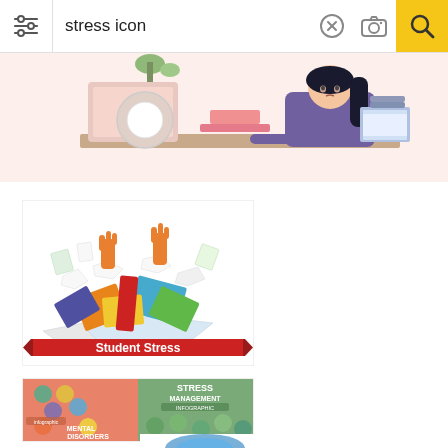[Figure (screenshot): Search engine interface showing search bar with 'stress icon' query, filter icon on left, X and camera icons, yellow search button on right]
[Figure (illustration): Stressed woman with dark hair leaning over a desk with laptop, papers, and office items in a flat design illustration]
[Figure (illustration): Student Stress illustration showing a pile of colorful books, papers, folders with hands raised from the pile, red banner at bottom reading 'Student Stress']
[Figure (infographic): Dual infographic: left side orange/salmon background with circular icons showing mental disorders symptoms with text 'MENTAL DISORDERS'; right side green background titled 'STRESS MANAGEMENT INFOGRAPHIC' with circular icons and tips]